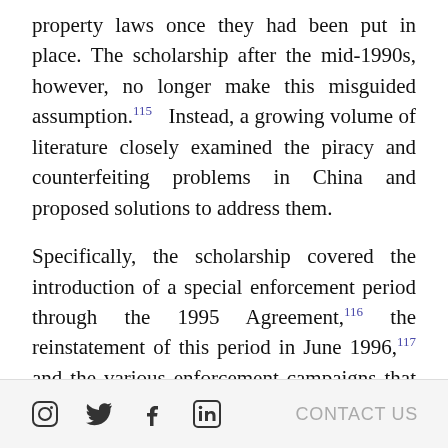property laws once they had been put in place. The scholarship after the mid-1990s, however, no longer make this misguided assumption.115 Instead, a growing volume of literature closely examined the piracy and counterfeiting problems in China and proposed solutions to address them.
Specifically, the scholarship covered the introduction of a special enforcement period through the 1995 Agreement,116 the reinstatement of this period in June 1996,117 and the various enforcement campaigns that China subsequently launched. This coverage shows that policymakers and
Social media icons: Instagram, Twitter, Facebook, LinkedIn | CONTACT US